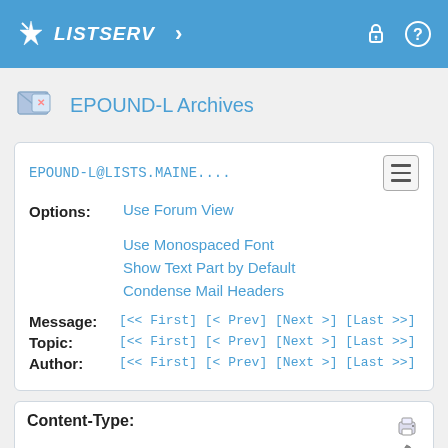LISTSERV
EPOUND-L Archives
EPOUND-L@LISTS.MAINE....
Options: Use Forum View
Use Monospaced Font
Show Text Part by Default
Condense Mail Headers
Message: [<< First] [< Prev] [Next >] [Last >>]
Topic: [<< First] [< Prev] [Next >] [Last >>]
Author: [<< First] [< Prev] [Next >] [Last >>]
Content-Type:
multipart/alternative; boundary="_000_PH0PR18MB4521540ECFFC3958C3C8B0C8A97C9PH0PR18MB4521namp_"